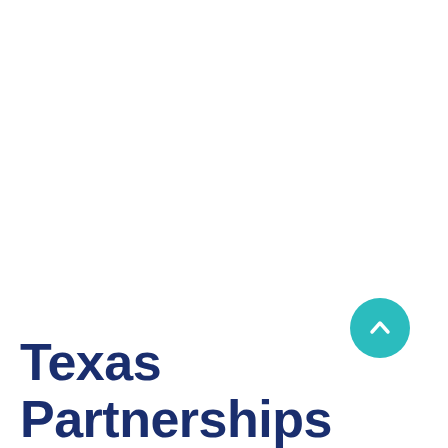[Figure (other): Teal circular scroll-to-top button with upward chevron arrow icon]
Texas Partnerships